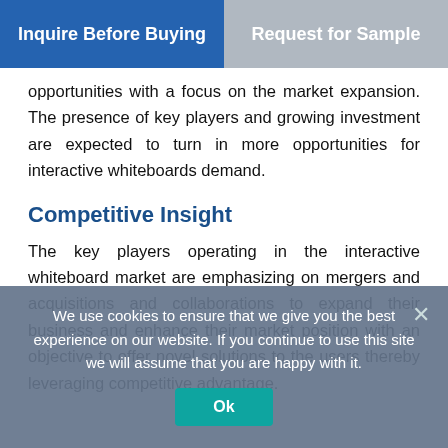[Figure (screenshot): Two buttons at top: 'Inquire Before Buying' (blue) and 'Request for Sample' (gray)]
opportunities with a focus on the market expansion. The presence of key players and growing investment are expected to turn in more opportunities for interactive whiteboards demand.
Competitive Insight
The key players operating in the interactive whiteboard market are emphasizing on mergers and acquisitions and collaborations to expand their business and enhance their market position with an objective to offer novel solutions to the users thereby leveraging competitive advantage.
We use cookies to ensure that we give you the best experience on our website. If you continue to use this site we will assume that you are happy with it.